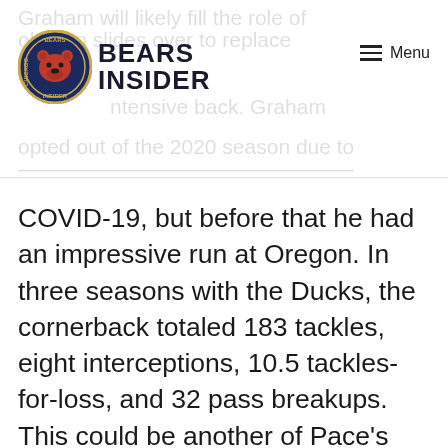Bears Insider — Menu
COVID-19, but before that he had an impressive run at Oregon. In three seasons with the Ducks, the cornerback totaled 183 tackles, eight interceptions, 10.5 tackles-for-loss, and 32 pass breakups. This could be another of Pace's late-round steals. Pro Football Focus had Graham ranked as the 76th-best prospect in the entire draft.